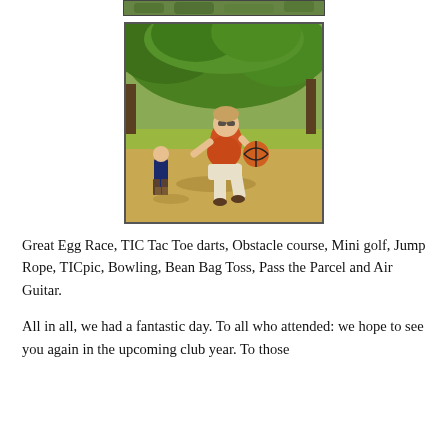[Figure (photo): Partial top strip of a photograph showing green foliage/trees]
[Figure (photo): Outdoor photograph showing a woman in an orange top and white shorts holding a basketball, with a small child in a blue t-shirt standing nearby, on a grassy lawn with green trees in the background]
Great Egg Race, TIC Tac Toe darts, Obstacle course, Mini golf, Jump Rope, TICpic, Bowling, Bean Bag Toss, Pass the Parcel and Air Guitar.
All in all, we had a fantastic day. To all who attended: we hope to see you again in the upcoming club year. To those